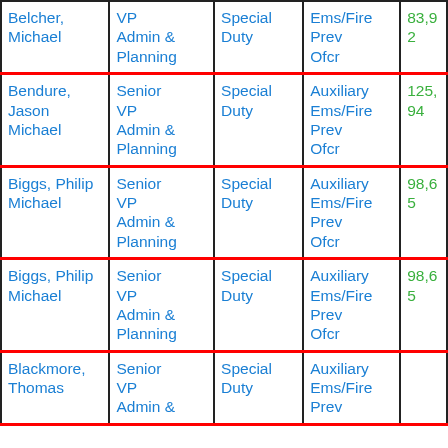| Name | Title | Type | Position | Amount |
| --- | --- | --- | --- | --- |
| Belcher, Michael | VP Admin & Planning | Special Duty | Ems/Fire Prev Ofcr | 83,92 |
| Bendure, Jason Michael | Senior VP Admin & Planning | Special Duty | Auxiliary Ems/Fire Prev Ofcr | 125,94 |
| Biggs, Philip Michael | Senior VP Admin & Planning | Special Duty | Auxiliary Ems/Fire Prev Ofcr | 98,65 |
| Biggs, Philip Michael | Senior VP Admin & Planning | Special Duty | Auxiliary Ems/Fire Prev Ofcr | 98,65 |
| Blackmore, Thomas | Senior VP Admin & | Special Duty | Auxiliary Ems/Fire Prev |  |